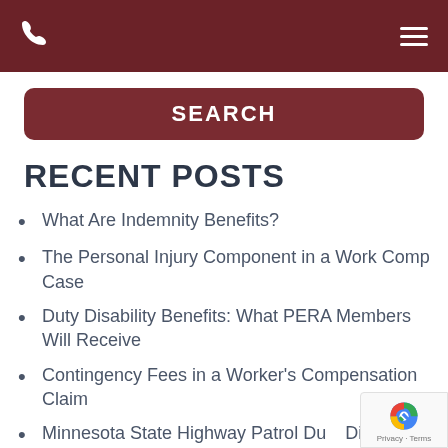Phone and menu navigation header
SEARCH
RECENT POSTS
What Are Indemnity Benefits?
The Personal Injury Component in a Work Comp Case
Duty Disability Benefits: What PERA Members Will Receive
Contingency Fees in a Worker's Compensation Claim
Minnesota State Highway Patrol Duty Disability Basics